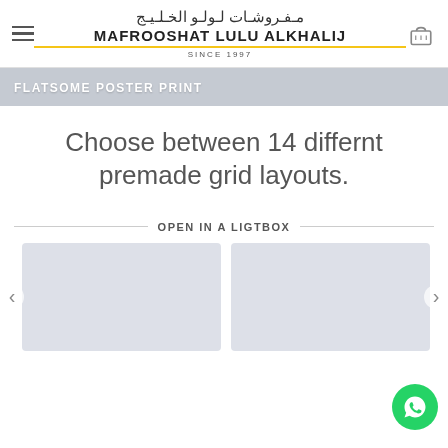مفروشات لولو الخليج | MAFROOSHAT LULU ALKHALIJ | SINCE 1997
FLATSOME POSTER PRINT
Choose between 14 differnt premade grid layouts.
OPEN IN A LIGTBOX
[Figure (photo): Two light grey placeholder image boxes side by side]
[Figure (logo): WhatsApp floating button, green circle with white WhatsApp icon]